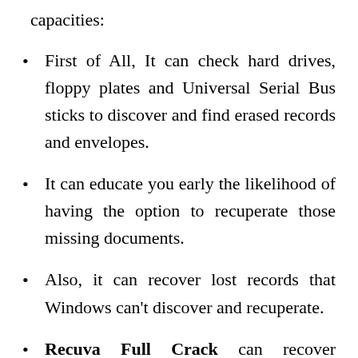capacities:
First of All, It can check hard drives, floppy plates and Universal Serial Bus sticks to discover and find erased records and envelopes.
It can educate you early the likelihood of having the option to recuperate those missing documents.
Also, it can recover lost records that Windows can't discover and recuperate.
Recuva Full Crack can recover messages